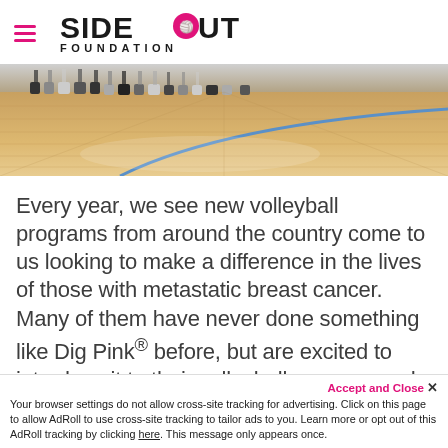Side Out Foundation logo with hamburger menu
[Figure (photo): Volleyball court floor with players' feet and shoes visible along the baseline, wooden court with blue line]
Every year, we see new volleyball programs from around the country come to us looking to make a difference in the lives of those with metastatic breast cancer. Many of them have never done something like Dig Pink® before, but are excited to introduce it to their volleyball program and get their athletes involved with something bigger than themselves.
Accept and Close ✕
Your browser settings do not allow cross-site tracking for advertising. Click on this page to allow AdRoll to use cross-site tracking to tailor ads to you. Learn more or opt out of this AdRoll tracking by clicking here. This message only appears once.